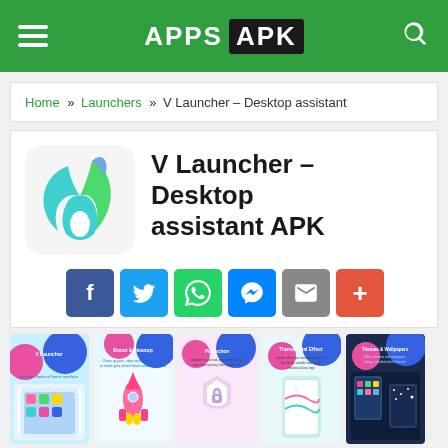APPS APK
Home » Launchers » V Launcher – Desktop assistant
V Launcher – Desktop assistant APK
[Figure (logo): V Launcher app icon — flame shape with teal and green gradient and water drop]
[Figure (infographic): Social share buttons: Facebook, Twitter, WhatsApp, Messenger, Email, More (+)]
[Figure (screenshot): Five app screenshots showing V Launcher features: launcher interface, boost & cleanup, protection, transition effect, themes & wallpapers]